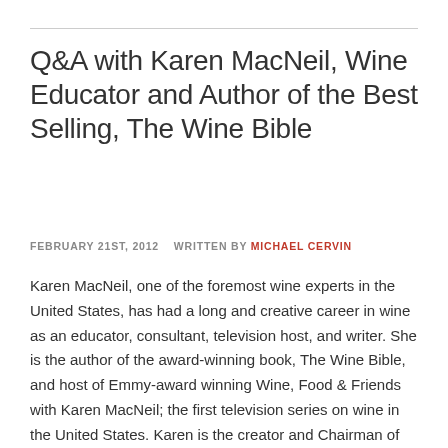Q&A with Karen MacNeil, Wine Educator and Author of the Best Selling, The Wine Bible
FEBRUARY 21ST, 2012   WRITTEN BY MICHAEL CERVIN
Karen MacNeil, one of the foremost wine experts in the United States, has had a long and creative career in wine as an educator, consultant, television host, and writer. She is the author of the award-winning book, The Wine Bible, and host of Emmy-award winning Wine, Food & Friends with Karen MacNeil; the first television series on wine in the United States. Karen is the creator and Chairman of the Rudd Center for